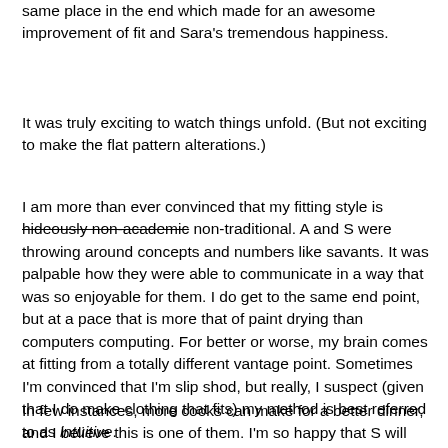same place in the end which made for an awesome improvement of fit and Sara's tremendous happiness.
It was truly exciting to watch things unfold. (But not exciting to make the flat pattern alterations.)
I am more than ever convinced that my fitting style is hideously non-academic non-traditional. A and S were throwing around concepts and numbers like savants. It was palpable how they were able to communicate in a way that was so enjoyable for them. I do get to the same end point, but at a pace that is more that of paint drying than computers computing. For better or worse, my brain comes at fitting from a totally different vantage point. Sometimes I'm convinced that I'm slip shod, but really, I suspect (given that I do make clothing that fits) my method is best referred to as intuitive.
In few instances, more cooks can make for a better dinner, and I believe this is one of them. I'm so happy that S will have more helpers, at future sessions, to facilitate her fitting solutions and that we'll each have a chance to improve